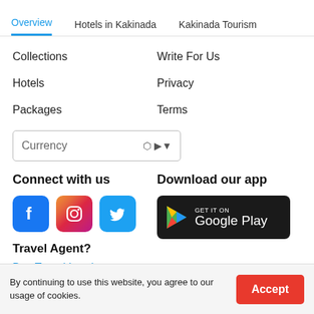Overview | Hotels in Kakinada | Kakinada Tourism
Collections
Write For Us
Hotels
Privacy
Packages
Terms
Currency (dropdown)
Connect with us
[Figure (illustration): Facebook, Instagram, and Twitter social media icons]
Download our app
[Figure (illustration): Google Play store download button]
Travel Agent?
Buy Travel Leads
By continuing to use this website, you agree to our usage of cookies.